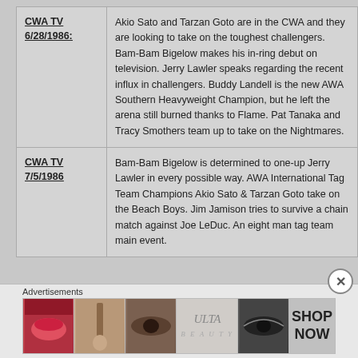| Date | Description |
| --- | --- |
| CWA TV 6/28/1986: | Akio Sato and Tarzan Goto are in the CWA and they are looking to take on the toughest challengers. Bam-Bam Bigelow makes his in-ring debut on television. Jerry Lawler speaks regarding the recent influx in challengers. Buddy Landell is the new AWA Southern Heavyweight Champion, but he left the arena still burned thanks to Flame. Pat Tanaka and Tracy Smothers team up to take on the Nightmares. |
| CWA TV 7/5/1986 | Bam-Bam Bigelow is determined to one-up Jerry Lawler in every possible way. AWA International Tag Team Champions Akio Sato & Tarzan Goto take on the Beach Boys. Jim Jamison tries to survive a chain match against Joe LeDuc. An eight man tag team main event. |
Advertisements
[Figure (photo): Advertisement banner showing Ulta Beauty cosmetics ad with lip, makeup brush, eye shadow, Ulta logo, and eyes imagery with SHOP NOW button]